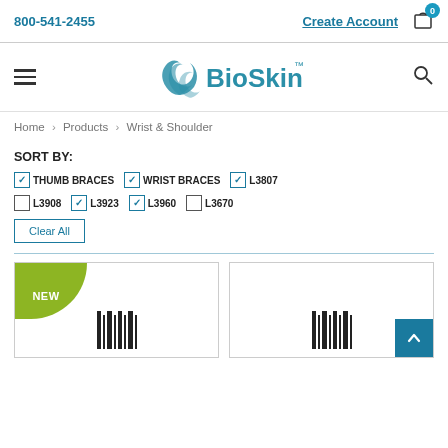800-541-2455  Create Account  Cart (0)
[Figure (logo): BioSkin logo with stylized wave mark and text 'BioSkin']
Home > Products > Wrist & Shoulder
SORT BY:
[checked] THUMB BRACES  [checked] WRIST BRACES  [checked] L3807  [unchecked] L3908  [checked] L3923  [checked] L3960  [unchecked] L3670
Clear All
[Figure (screenshot): Product card with green NEW badge and product image placeholder]
[Figure (screenshot): Product card with product image placeholder and teal back-to-top button]